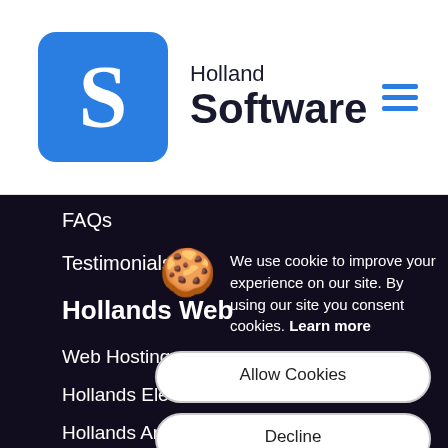[Figure (logo): Holland Software logo with blue rounded square containing white S, beside Holland Software wordmark]
FAQs
Testimonials
Hollands Web
Web Hosting
Hollands Ele
Hollands An
Hollands Sh
Get Upda
Send me tips, tre
We use cookie to improve your experience on our site. By using our site you consent cookies. Learn more
Allow Cookies
Decline